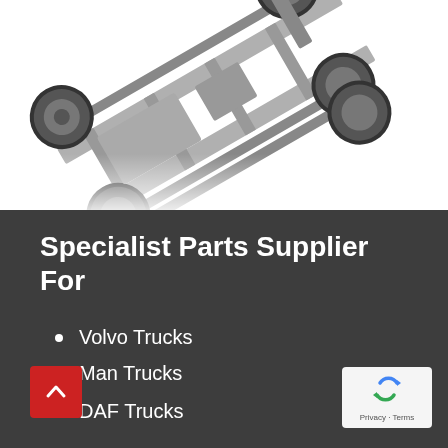[Figure (photo): 3D render of a heavy truck chassis with multiple axles and wheels, viewed from above at an angle, on white background]
Specialist Parts Supplier For
Volvo Trucks
Man Trucks
DAF Trucks
[Figure (logo): Google reCAPTCHA badge with recycle-arrow logo and Privacy · Terms text]